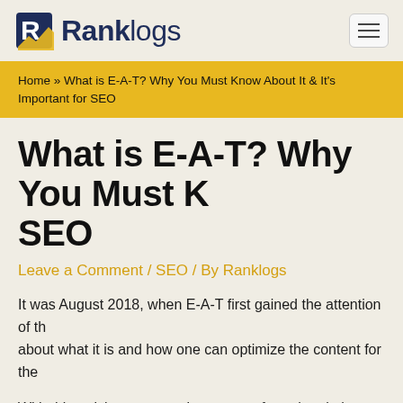Ranklogs
Home » What is E-A-T? Why You Must Know About It & It's Important for SEO
What is E-A-T? Why You Must Know About It & It's Important for SEO
Leave a Comment / SEO / By Ranklogs
It was August 2018, when E-A-T first gained the attention of the SEO community. There have been a lot of questions about what it is and how one can optimize the content for the E-A-T.
With this article, we are trying to stray from the plethora of articles on the internet and provide a bird-eye view of E-A-T.
E-A-T: What it is?